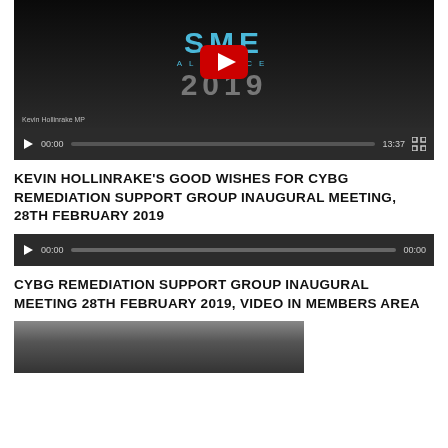[Figure (screenshot): YouTube video player showing SME Alliance logo with play button overlay and video controls showing 00:00 / 13:37 duration]
KEVIN HOLLINRAKE'S GOOD WISHES FOR CYBG REMEDIATION SUPPORT GROUP INAUGURAL MEETING, 28TH FEBRUARY 2019
[Figure (screenshot): Audio/video player with controls showing 00:00 / 00:00 duration]
CYBG REMEDIATION SUPPORT GROUP INAUGURAL MEETING 28TH FEBRUARY 2019, VIDEO IN MEMBERS AREA
[Figure (screenshot): Video thumbnail showing a meeting room scene]